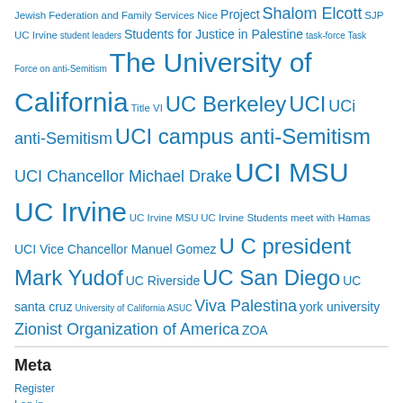Jewish Federation and Family Services Nice Project Shalom Elcott SJP UC Irvine student leaders Students for Justice in Palestine task-force Task Force on anti-Semitism The University of California Title VI UC Berkeley UCI UCi anti-Semitism UCI campus anti-Semitism UCI Chancellor Michael Drake UCI MSU UC Irvine UC Irvine MSU UC Irvine Students meet with Hamas UCI Vice Chancellor Manuel Gomez U C president Mark Yudof UC Riverside UC San Diego UC santa cruz University of California ASUC Viva Palestina york university Zionist Organization of America ZOA
Meta
Register
Log in
Entries feed